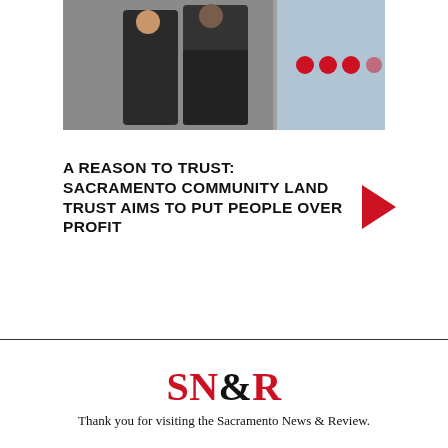[Figure (photo): Two people standing in a doorway; decorative circles visible in the background to the right.]
A REASON TO TRUST: SACRAMENTO COMMUNITY LAND TRUST AIMS TO PUT PEOPLE OVER PROFIT
Sign up for our newsletter!
SN&R
Thank you for visiting the Sacramento News & Review.